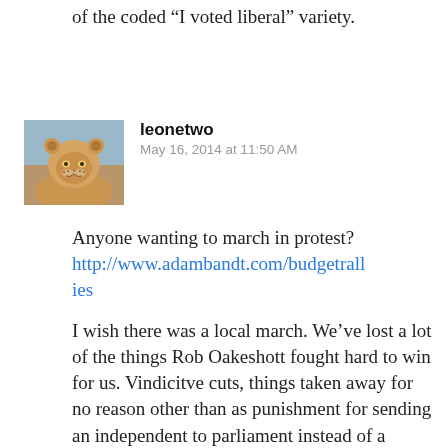of the coded “I voted liberal” variety.
[Figure (photo): Avatar image of a lioness (leonetwo user profile picture)]
leonetwo
May 16, 2014 at 11:50 AM
Anyone wanting to march in protest? http://www.adambandt.com/budgetrallies

I wish there was a local march. We’ve lost a lot of the things Rob Oakeshott fought hard to win for us. Vindicitve cuts, things taken away for no reason other than as punishment for sending an independent to parliament instead of a useless National. Spite, pure and simple.